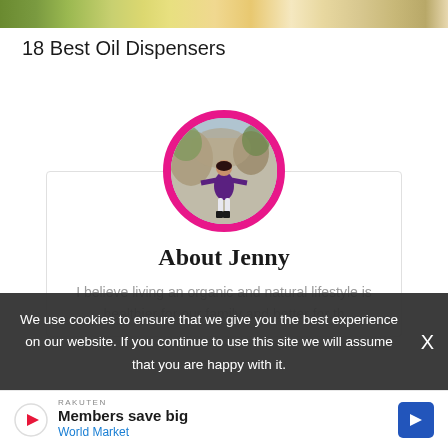[Figure (photo): Top banner image showing olive branches and food items (partial crop at top of page)]
18 Best Oil Dispensers
[Figure (photo): Circular profile photo of Jenny with pink border, woman in purple dress standing outdoors with trees in background]
About Jenny
I believe living an organic and natural lifestyle is healthier for our family and better for the
We use cookies to ensure that we give you the best experience on our website. If you continue to use this site we will assume that you are happy with it.
[Figure (other): Advertisement banner: Members save big - World Market with play icon and arrow button]